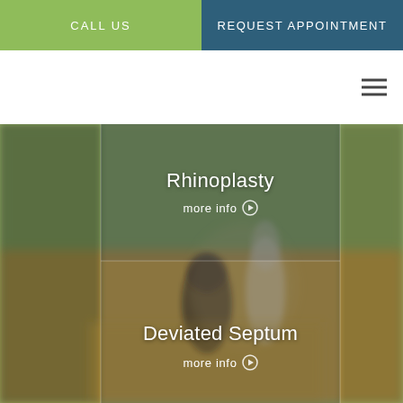CALL US
REQUEST APPOINTMENT
[Figure (photo): Outdoor photo of a family — woman smiling, man with child on shoulders, in a field with golden grass and green trees in background]
Rhinoplasty
more info
Deviated Septum
more info